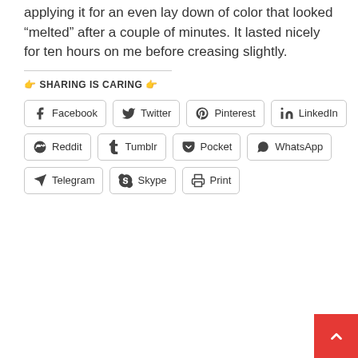applying it for an even lay down of color that looked “melted” after a couple of minutes. It lasted nicely for ten hours on me before creasing slightly.
👉 SHARING IS CARING 👉
Facebook
Twitter
Pinterest
LinkedIn
Reddit
Tumblr
Pocket
WhatsApp
Telegram
Skype
Print